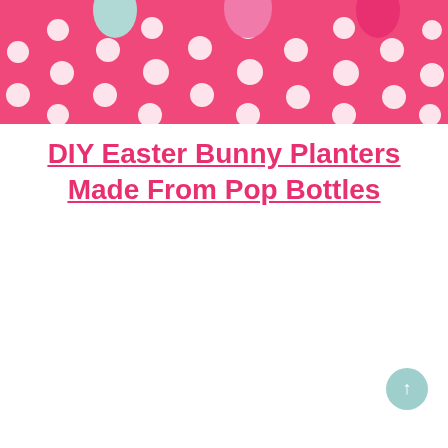[Figure (photo): Close-up photo of small Easter bunny figurines (mint green and pink) sitting on a hot pink polka dot surface. The bunnies are visible at the top of the image with white polka dots on pink background below.]
DIY Easter Bunny Planters Made From Pop Bottles